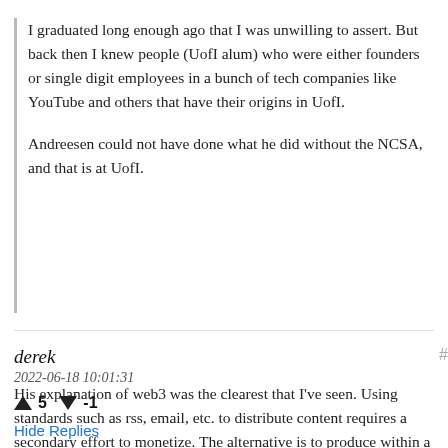I graduated long enough ago that I was unwilling to assert. But back then I knew people (UofI alum) who were either founders or single digit employees in a bunch of tech companies like YouTube and others that have their origins in UofI.

Andreesen could not have done what he did without the NCSA, and that is at UofI.
derek
2022-06-18 10:01:31
▲ 5 ▼ -1
Hide Replies
His explanation of web3 was the clearest that I've seen. Using standards such as rss, email, etc. to distribute content requires a secondary effort to monetize. The alternative is to produce within a walled garden not using the internet standards.